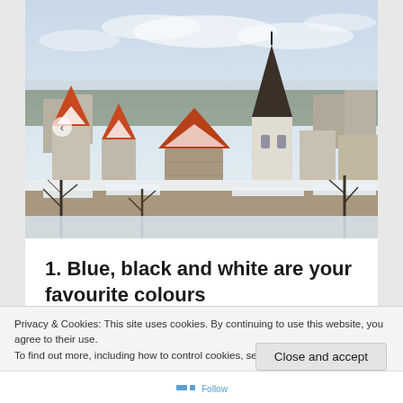[Figure (photo): Winter aerial view of Tallinn old town with snow-covered rooftops, medieval towers with orange/red conical roofs, bare trees, and a tall church spire in the background against a pale winter sky.]
1. Blue, black and white are your favourite colours
Privacy & Cookies: This site uses cookies. By continuing to use this website, you agree to their use.
To find out more, including how to control cookies, see here: Cookie Policy
Close and accept